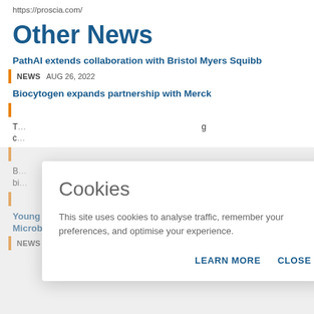https://proscia.com/
Other News
PathAI extends collaboration with Bristol Myers Squibb
NEWS  AUG 26, 2022
Biocytogen expands partnership with Merck
T... g c...
B... n bi...
Cookies
This site uses cookies to analyse traffic, remember your preferences, and optimise your experience.
LEARN MORE  CLOSE
Young Microbiologist of the Year finalists unveiled by Microbiology Society
NEWS  AUG 23, 2022